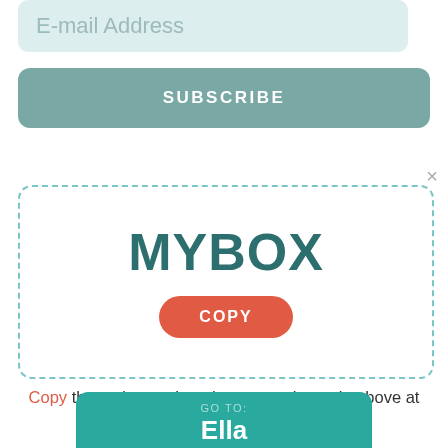E-mail Address
SUBSCRIBE
×
MYBOX
COPY
Copy the code, go shopping, paste the code above at checkout to activate the coupon..
GO TO: Ella Paradis